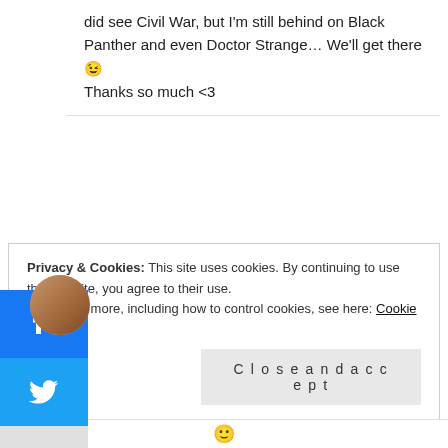did see Civil War, but I'm still behind on Black Panther and even Doctor Strange… We'll get there 😉
Thanks so much <3
Jolien @ The Fictional Reader
Reply
Posted on May 3, 2018 at 6:03 am
YES to NCT and Eric Nam. Honestly, such good songs. NCT has been killing it in 2018. I really liked Annihilation, actually. But I definitely understand what you mean, it left me reeling too. I kept thinking about the ending, and at one point wondered whether I was hallucinating it.
Privacy & Cookies: This site uses cookies. By continuing to use this website, you agree to their use.
To find out more, including how to control cookies, see here: Cookie Policy
Close and accept